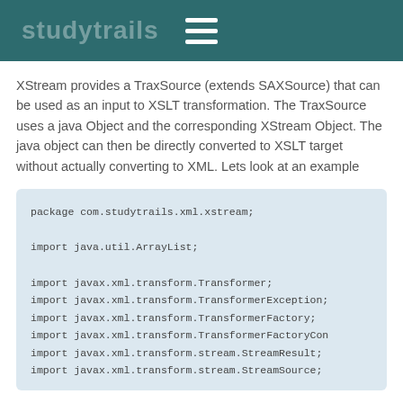hamburger menu icon
XStream provides a TraxSource (extends SAXSource) that can be used as an input to XSLT transformation. The TraxSource uses a java Object and the corresponding XStream Object. The java object can then be directly converted to XSLT target without actually converting to XML. Lets look at an example
package com.studytrails.xml.xstream;

import java.util.ArrayList;

import javax.xml.transform.Transformer;
import javax.xml.transform.TransformerException;
import javax.xml.transform.TransformerFactory;
import javax.xml.transform.TransformerFactoryCon
import javax.xml.transform.stream.StreamResult;
import javax.xml.transform.stream.StreamSource;